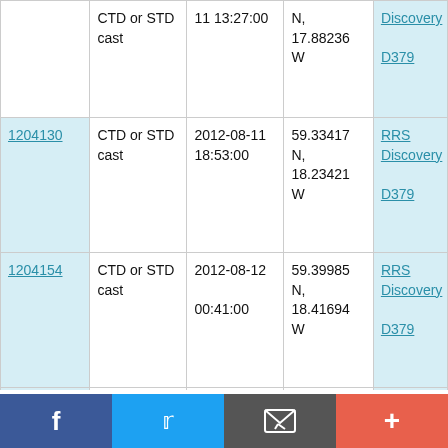| ID | Type | Date/Time | Location | Cruise |
| --- | --- | --- | --- | --- |
|  | CTD or STD cast | 2012-08-11 13:27:00 | N, 17.88236 W | RRS Discovery D379 |
| 1204130 | CTD or STD cast | 2012-08-11 18:53:00 | 59.33417 N, 18.23421 W | RRS Discovery D379 |
| 1204154 | CTD or STD cast | 2012-08-12 00:41:00 | 59.39985 N, 18.41694 W | RRS Discovery D379 |
| 1204178 | CTD or STD cast | 2012-08-12 09:20:00 | 59.6668 N, 19.11666 | RRS Discovery D379 |